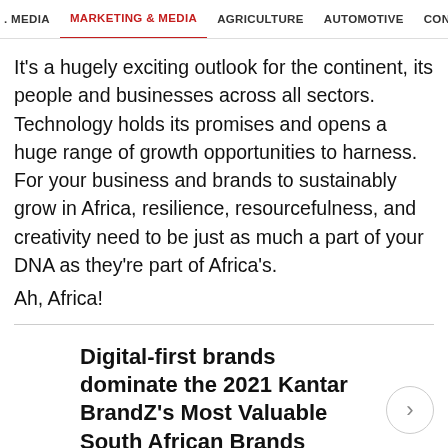. MEDIA   MARKETING & MEDIA   AGRICULTURE   AUTOMOTIVE   CONSTRU
It's a hugely exciting outlook for the continent, its people and businesses across all sectors. Technology holds its promises and opens a huge range of growth opportunities to harness. For your business and brands to sustainably grow in Africa, resilience, resourcefulness, and creativity need to be just as much a part of your DNA as they're part of Africa's.
Ah, Africa!
Digital-first brands dominate the 2021 Kantar BrandZ's Most Valuable South African Brands
ISSUED BY KANTAR 1 SEP 2021